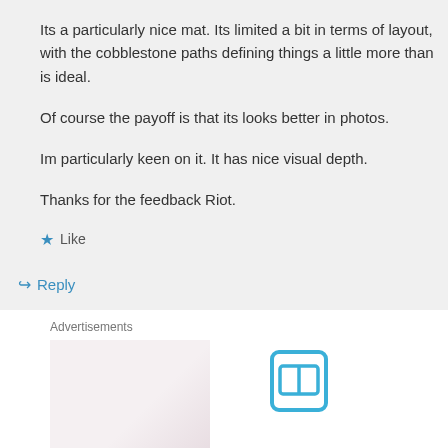Its a particularly nice mat. Its limited a bit in terms of layout, with the cobblestone paths defining things a little more than is ideal.
Of course the payoff is that its looks better in photos.
Im particularly keen on it. It has nice visual depth.
Thanks for the feedback Riot.
★ Like
↳ Reply
Advertisements
[Figure (photo): Advertisement image placeholder with light pinkish background]
[Figure (other): Bookmark icon — rounded rectangle with open-book symbol in blue]